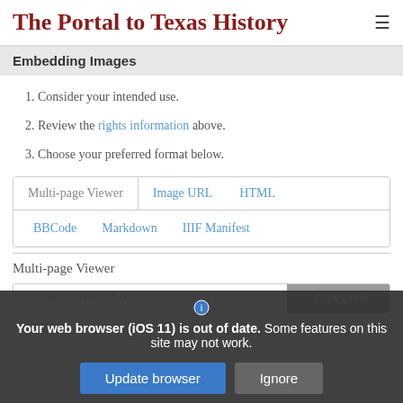The Portal to Texas History
Embedding Images
1. Consider your intended use.
2. Review the rights information above.
3. Choose your preferred format below.
Multi-page Viewer | Image URL | HTML | BBCode | Markdown | IIIF Manifest
Multi-page Viewer
<div style="overflow:hidden;
Copy Code
Your web browser (iOS 11) is out of date. Some features on this site may not work.
Update browser | Ignore